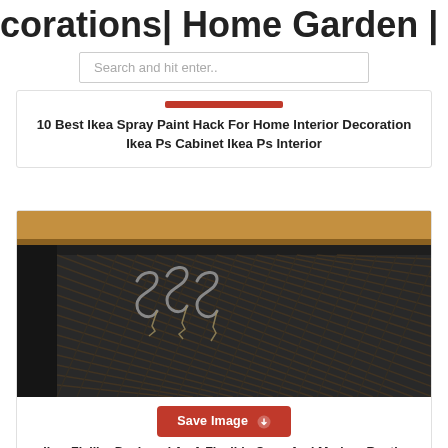corations| Home Garden | Home Fa
Search and hit enter..
10 Best Ikea Spray Paint Hack For Home Interior Decoration Ikea Ps Cabinet Ikea Ps Interior
[Figure (photo): Close-up photo of IKEA Fjallbo furniture unit with dark metal mesh frame, wooden top surface, and decorative hooks hanging on the mesh]
Save Image
Ikea Fjallbo Designed As A Flexible Open And Modern Rustic Range With Hints Of The 1920s And Modo Estanteria Hierro